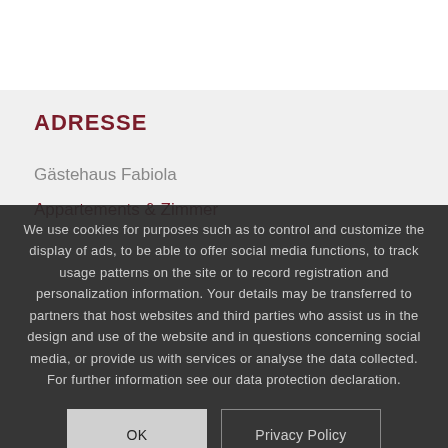ADRESSE
Gästehaus Fabiola
Appartements & Zimmer
We use cookies for purposes such as to control and customize the display of ads, to be able to offer social media functions, to track usage patterns on the site or to record registration and personalization information. Your details may be transferred to partners that host websites and third parties who assist us in the design and use of the website and in questions concerning social media, or provide us with services or analyse the data collected. For further information see our data protection declaration.
OK
Privacy Policy